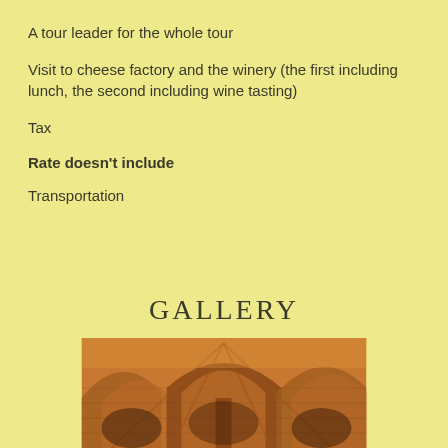A tour leader for the whole tour
Visit to cheese factory and the winery (the first including lunch, the second including wine tasting)
Tax
Rate doesn't include
Transportation
GALLERY
[Figure (photo): Interior of a brick vaulted cellar or historic building with arched ceilings and stone pillars]